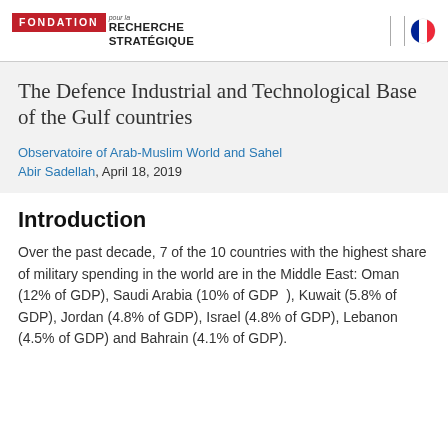Fondation pour la Recherche Stratégique
The Defence Industrial and Technological Base of the Gulf countries
Observatoire of Arab-Muslim World and Sahel
Abir Sadellah, April 18, 2019
Introduction
Over the past decade, 7 of the 10 countries with the highest share of military spending in the world are in the Middle East: Oman (12% of GDP), Saudi Arabia (10% of GDP ), Kuwait (5.8% of GDP), Jordan (4.8% of GDP), Israel (4.8% of GDP), Lebanon (4.5% of GDP) and Bahrain (4.1% of GDP).